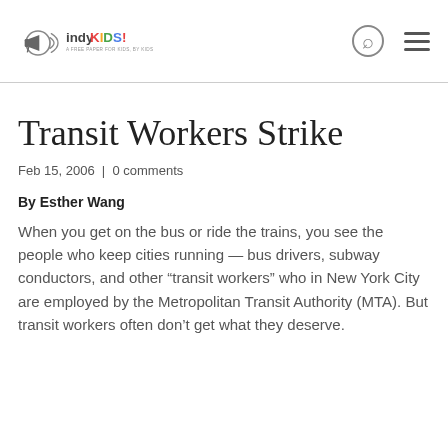indyKIDS! a free paper for kids, by kids
Transit Workers Strike
Feb 15, 2006 | 0 comments
By Esther Wang
When you get on the bus or ride the trains, you see the people who keep cities running — bus drivers, subway conductors, and other “transit workers” who in New York City are employed by the Metropolitan Transit Authority (MTA). But transit workers often don’t get what they deserve.